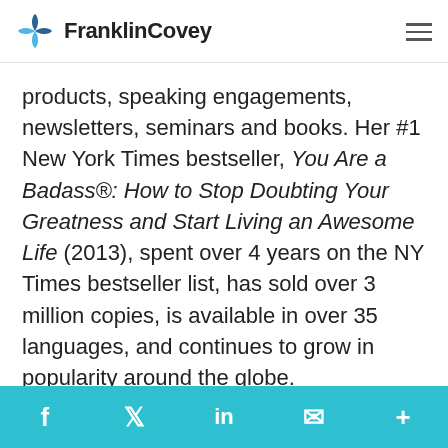FranklinCovey
products, speaking engagements, newsletters, seminars and books. Her #1 New York Times bestseller, You Are a Badass®: How to Stop Doubting Your Greatness and Start Living an Awesome Life (2013), spent over 4 years on the NY Times bestseller list, has sold over 3 million copies, is available in over 35 languages, and continues to grow in popularity around the globe.
f  twitter  in  email  +